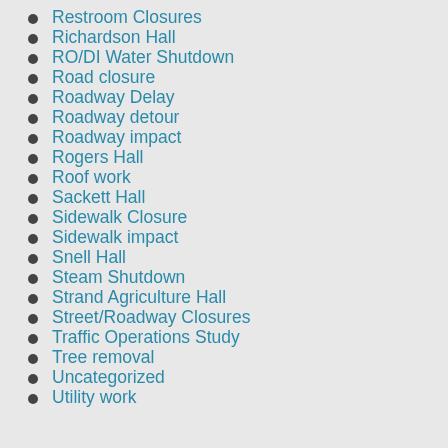Restroom Closures
Richardson Hall
RO/DI Water Shutdown
Road closure
Roadway Delay
Roadway detour
Roadway impact
Rogers Hall
Roof work
Sackett Hall
Sidewalk Closure
Sidewalk impact
Snell Hall
Steam Shutdown
Strand Agriculture Hall
Street/Roadway Closures
Traffic Operations Study
Tree removal
Uncategorized
Utility work